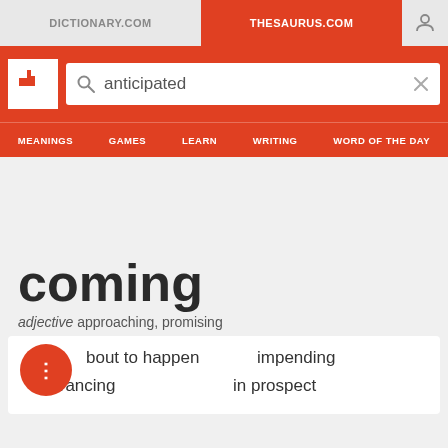DICTIONARY.COM | THESAURUS.COM
[Figure (screenshot): Thesaurus.com website header with red navigation bar, logo, search bar containing 'anticipated', and navigation items: MEANINGS, GAMES, LEARN, WRITING, WORD OF THE DAY]
coming
adjective approaching, promising
about to happen   impending
advancing   in prospect